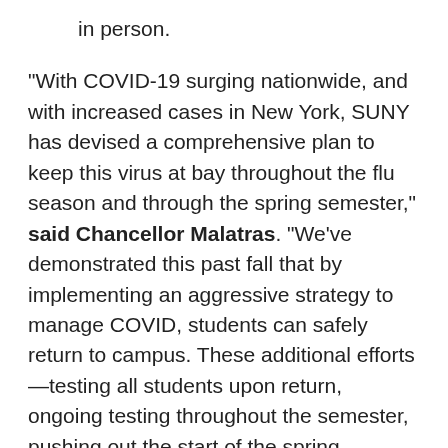in person.

"With COVID-19 surging nationwide, and with increased cases in New York, SUNY has devised a comprehensive plan to keep this virus at bay throughout the flu season and through the spring semester," said Chancellor Malatras. "We've demonstrated this past fall that by implementing an aggressive strategy to manage COVID, students can safely return to campus. These additional efforts—testing all students upon return, ongoing testing throughout the semester, pushing out the start of the spring semester, and mandatory masks at all times, coupled with uniform enforcement and compliance—illustrates that SUNY is setting a nationwide standard for controlling COVID-19 in the weeks and months to come. I have talked with countless students since